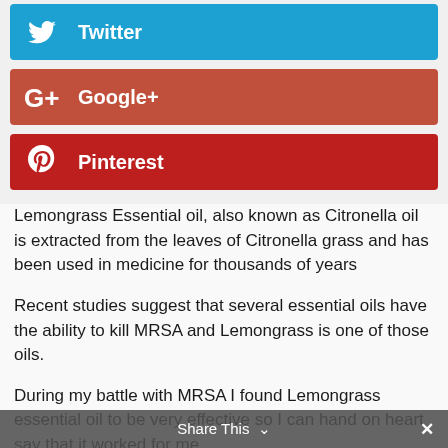[Figure (other): Twitter social share button with bird icon and label 'Twitter']
[Figure (other): Google+ social share button with G+ icon and label 'Google+']
[Figure (other): Pinterest social share button with P icon and label 'Pinterest']
Lemongrass Essential oil, also known as Citronella oil is extracted from the leaves of Citronella grass and has been used in medicine for thousands of years
Recent studies suggest that several essential oils have the ability to kill MRSA and Lemongrass is one of those oils.
During my battle with MRSA I found Lemongrass essential oil to be very effective so I can hand on heart say that it worked for me.
Share This  ∨  ×